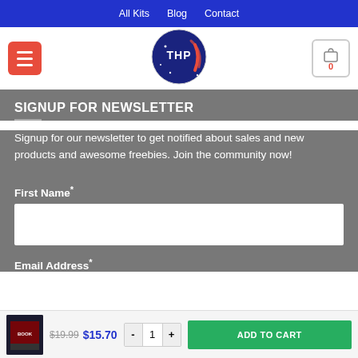All Kits  Blog  Contact
[Figure (logo): THP logo — circular NASA-style emblem with text THP and a red swoosh]
SIGNUP FOR NEWSLETTER
Signup for our newsletter to get notified about sales and new products and awesome freebies. Join the community now!
First Name*
Email Address*
$19.99  $15.70  - 1 +  ADD TO CART